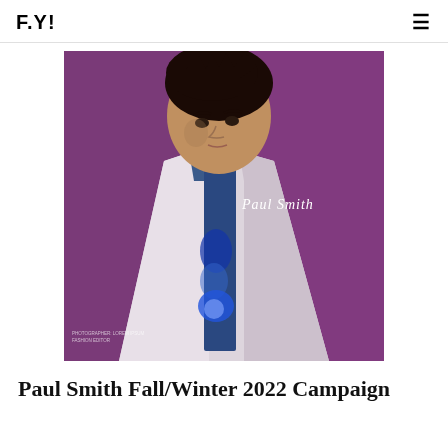F.Y!
[Figure (photo): Fashion campaign photo of a young male model wearing a white blazer over a blue shirt/tie against a purple background, with 'Paul Smith' handwritten script logo visible on the right side of the image.]
Paul Smith Fall/Winter 2022 Campaign